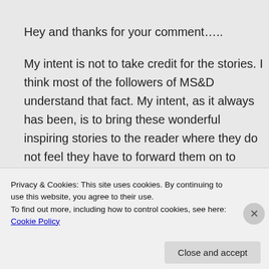Hey and thanks for your comment…..

My intent is not to take credit for the stories. I think most of the followers of MS&D understand that fact. My intent, as it always has been, is to bring these wonderful inspiring stories to the reader where they do not feel they have to forward them on to twenty others to ward off bad luck.

You can copy a short section of each of
Privacy & Cookies: This site uses cookies. By continuing to use this website, you agree to their use.
To find out more, including how to control cookies, see here: Cookie Policy
Close and accept